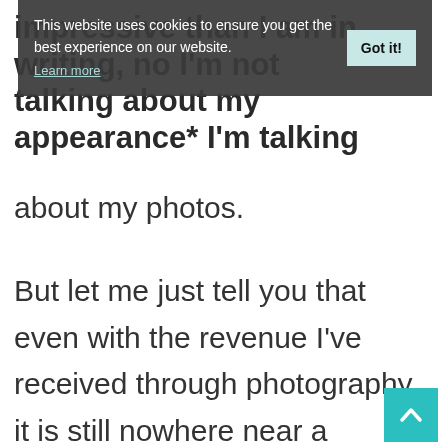[Figure (screenshot): Cookie consent banner overlay on a webpage with dark semi-transparent background. Text reads 'This website uses cookies to ensure you get the best experience on our website.' with a 'Got it!' button and 'Learn more' link. Behind the banner, partial webpage text is visible.]
about my photos.
But let me just tell you that even with the revenue I've received through photography it is still nowhere near a liveable, consistent income yet. I still have months sometimes where I in fact make